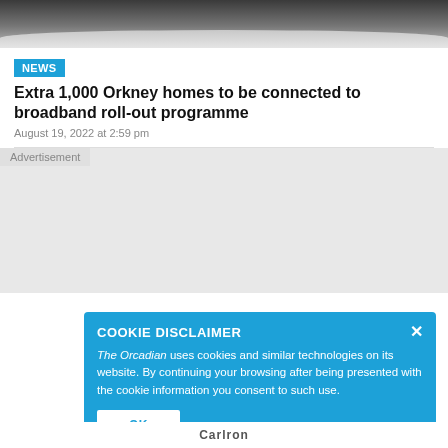[Figure (photo): Partial photo at top of page, dark-toned image cropped at top]
NEWS
Extra 1,000 Orkney homes to be connected to broadband roll-out programme
August 19, 2022 at 2:59 pm
Advertisement
COOKIE DISCLAIMER
The Orcadian uses cookies and similar technologies on its website. By continuing your browsing after being presented with the cookie information you consent to such use.
OK
Carlron